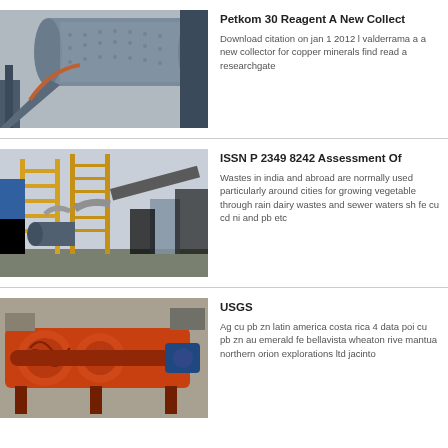[Figure (photo): Industrial mill or grinding facility with large cylindrical drum, metal structures and stairs, outdoor setting]
Petkom 30 Reagent A New Collect
Download citation on jan 1 2012 l valderrama a a new collector for copper minerals find read a researchgate
[Figure (photo): Industrial mining facility with tall yellow scaffolding structures, conveyor belts, and processing equipment against a pale sky]
ISSN P 2349 8242 Assessment Of
Wastes in india and abroad are normally used particularly around cities for growing vegetable through rain dairy wastes and sewer waters sh fe cu cd ni and pb etc
[Figure (photo): Industrial orange spiral/screw conveyor or classifier machine in a factory setting]
USGS
Ag cu pb zn latin america costa rica 4 data poi cu pb zn au emerald fe bellavista wheaton rive mantua northern orion explorations ltd jacinto